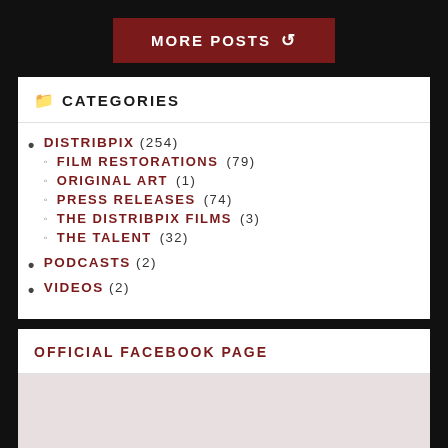MORE POSTS ↺
📁 CATEGORIES
DISTRIBPIX (254)
FILM RESTORATIONS (79)
ORIGINAL ART (1)
PRESS RELEASES (74)
THE DISTRIBPIX FILMS (3)
THE TALENT (32)
PODCASTS (2)
VIDEOS (2)
OFFICIAL FACEBOOK PAGE